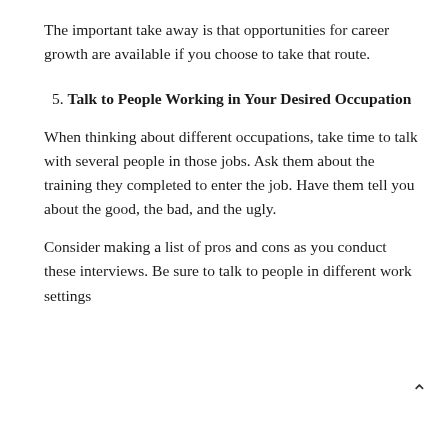The important take away is that opportunities for career growth are available if you choose to take that route.
5. Talk to People Working in Your Desired Occupation
When thinking about different occupations, take time to talk with several people in those jobs. Ask them about the training they completed to enter the job. Have them tell you about the good, the bad, and the ugly.
Consider making a list of pros and cons as you conduct these interviews. Be sure to talk to people in different work settings...